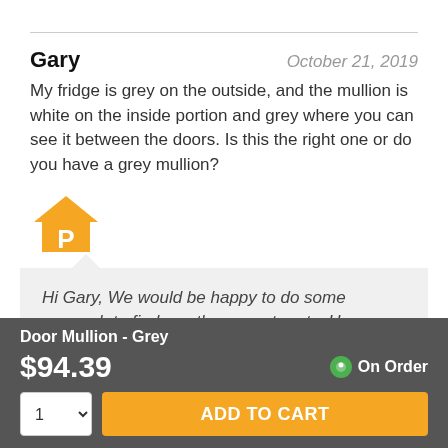Gary
October 21, 2019
My fridge is grey on the outside, and the mullion is white on the inside portion and grey where you can see it between the doors. Is this the right one or do you have a grey mullion?
[Figure (logo): Orange house icon with letter P]
Hi Gary, We would be happy to do some research to find you the correct parts. However, we need your model number and the brand name to locate
Door Mullion - Grey
$94.39
On Order
ADD TO CART